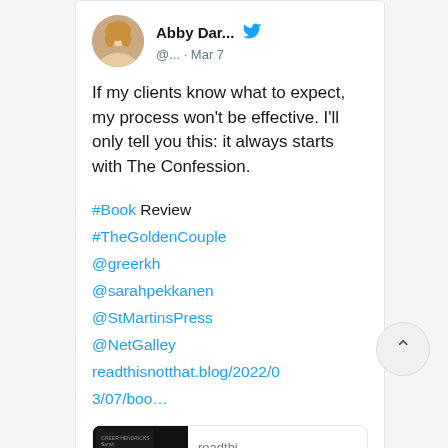[Figure (screenshot): Twitter/social media post by Abby Dar... (@... · Mar 7). Shows a circular avatar photo of a blonde woman, a blue Twitter bird icon, a tweet text about clients, The Confession, and book review hashtags/mentions with a link preview for The Golden Couple book review.]
If my clients know what to expect, my process won't be effective. I'll only tell you this: it always starts with The Confession.
#Book Review
#TheGoldenCouple
@greerkh
@sarahpekkanen
@StMartinsPress
@NetGalley
readthisnotthat.blog/2022/03/07/boo...